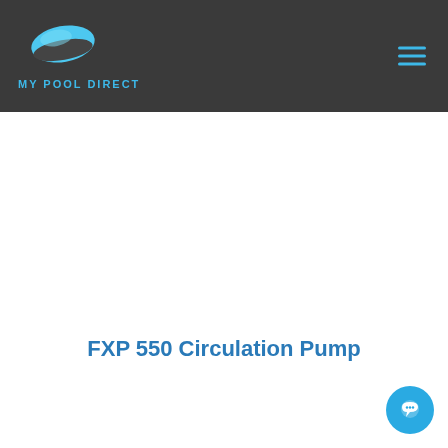MY POOL DIRECT
FXP 550 Circulation Pump